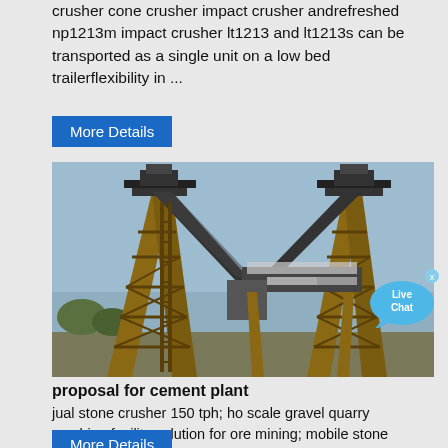crusher cone crusher impact crusher andrefreshed np1213m impact crusher lt1213 and lt1213s can be transported as a single unit on a low bed trailerflexibility in ...
[Figure (photo): Industrial conveyor belt system with large metal support towers/frames at a quarry or crushing facility, outdoor setting]
proposal for cement plant
jual stone crusher 150 tph; ho scale gravel quarry crushing facility solution for ore mining; mobile stone crusher plant on hire in colombia; introduction of cylindrical grinding machine; strong rotary impact crusher; cone crusher suppliers in zimbabwe; prices for gold crushers; drawbacks of ball mill grinding papua new guinea; CME small sand ...
[Figure (other): Live Chat bubble icon]
More Details
More Details